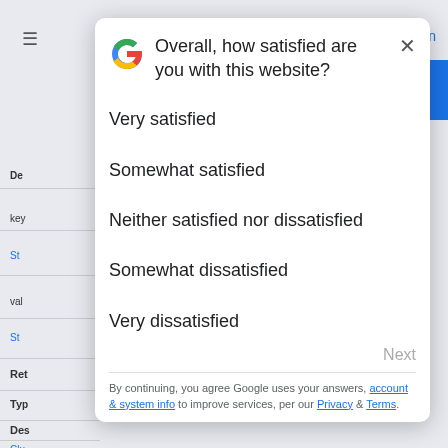[Figure (screenshot): Background webpage content partially visible behind a modal dialog, showing navigation menu icon, sign-in link, blue button, and rows with labels like key, Str, val, Str, Ret, Typ, Des, Clu]
Overall, how satisfied are you with this website?
Very satisfied
Somewhat satisfied
Neither satisfied nor dissatisfied
Somewhat dissatisfied
Very dissatisfied
Next
By continuing, you agree Google uses your answers, account & system info to improve services, per our Privacy & Terms.